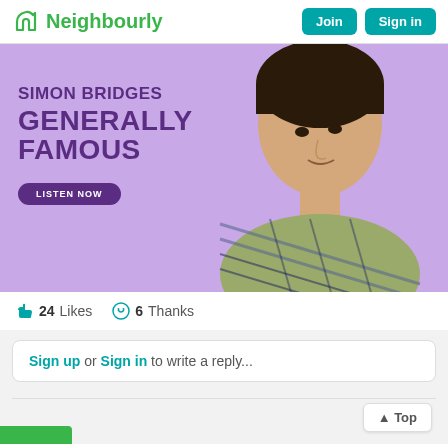Neighbourly — Join | Sign in
[Figure (photo): Promotional banner for 'Simon Bridges Generally Famous' podcast on Neighbourly, featuring a man in a plaid shirt against a purple/lavender background with 'LISTEN NOW' button]
24 Likes   6 Thanks
Sign up or Sign in to write a reply...
▲ Top